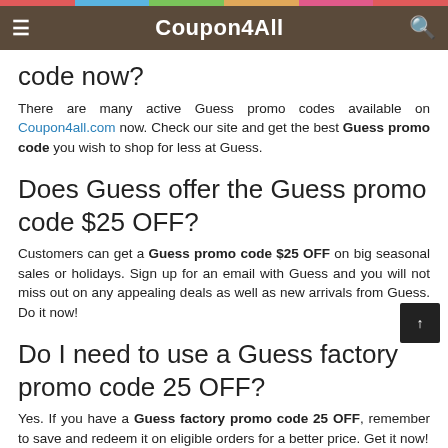Coupon4All
code now?
There are many active Guess promo codes available on Coupon4all.com now. Check our site and get the best Guess promo code you wish to shop for less at Guess.
Does Guess offer the Guess promo code $25 OFF?
Customers can get a Guess promo code $25 OFF on big seasonal sales or holidays. Sign up for an email with Guess and you will not miss out on any appealing deals as well as new arrivals from Guess. Do it now!
Do I need to use a Guess factory promo code 25 OFF?
Yes. If you have a Guess factory promo code 25 OFF, remember to save and redeem it on eligible orders for a better price. Get it now!
Where can I use Guess coupons in